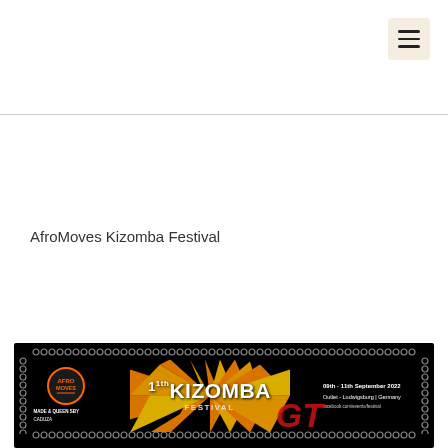AfroMoves Kizomba Festival
[Figure (illustration): AfroMoves Kizomba Festival banner: black background with circular dot border. Left side shows AfroMoves logo with performers labeled 'MADE & QUEEN SBY' and 'CADUZA'. Center shows '11th KIZOMBA FESTIVAL' text with orange sun rays. A red 'GT' overlay appears partially. Right side shows '09th - 11th September 2022', 'Outlet - Ludwigsburg | Germany', and a facebook URL.]